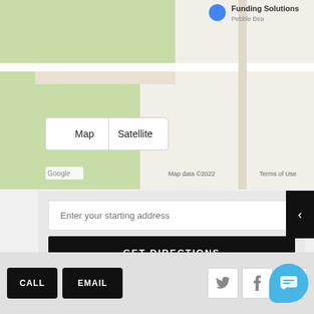[Figure (screenshot): Google Maps view showing partial map with green areas and beige roads. A location pin is visible with text 'Funding Solutions' and 'Pebble Bea...' partially visible. Map toggle buttons labeled Map and Satellite overlay the map. Bottom bar shows Google logo, Map data ©2022, and Terms of Use.]
Enter your starting address
GET DIRECTIONS
CALL
EMAIL